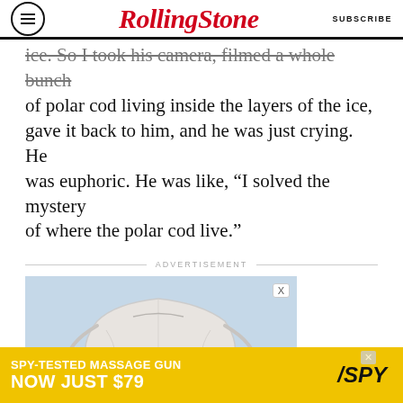RollingStone | SUBSCRIBE
ice. So I took his camera, filmed a whole bunch of polar cod living inside the layers of the ice, gave it back to him, and he was just crying. He was euphoric. He was like, “I solved the mystery of where the polar cod live.”
ADVERTISEMENT
[Figure (photo): Advertisement image showing a hand holding a white KN95/FFP2 face mask against a blurred outdoor background]
[Figure (photo): Bottom advertisement banner: SPY-TESTED MASSAGE GUN NOW JUST $79 with SPY logo on yellow background]